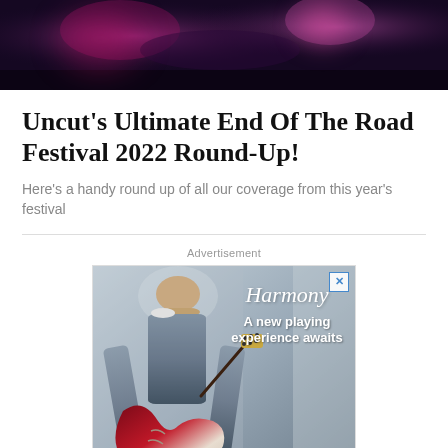[Figure (photo): Hero image of a concert venue with purple/pink stage lighting and audience silhouettes]
Uncut's Ultimate End Of The Road Festival 2022 Round-Up!
Here's a handy round up of all our coverage from this year's festival
[Figure (photo): Advertisement for Harmony guitars featuring a young man in a denim jacket playing a red electric guitar. Text reads 'Harmony - A new playing experience awaits' with a Learn More button.]